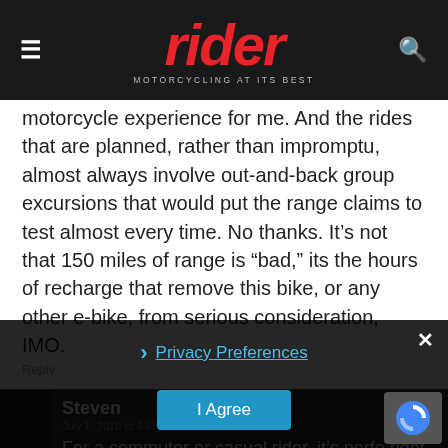rider — MOTORCYCLING AT ITS BEST
motorcycle experience for me. And the rides that are planned, rather than impromptu, almost always involve out-and-back group excursions that would put the range claims to test almost every time. No thanks. It's not that 150 miles of range is "bad," its the hours of recharge that remove this bike, or any other e-bike, from serious consideration, IMO.
Reply
Steven
July 1, 2016 at 4:43 pm
For a commuter or casual rider, it's perfe right out of th_ weeks NOT in t shop for oil changes and crap, the cash saved
Privacy Preferences
I Agree